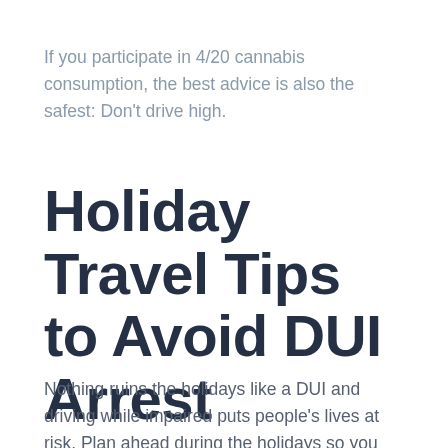If you participate in 4/20 cannabis consumption, the best advice is also the safest: Don't drive high.
Holiday Travel Tips to Avoid DUI Arrest
Nothing ruins the holidays like a DUI and driving while impaired puts people's lives at risk. Plan ahead during the holidays so you can